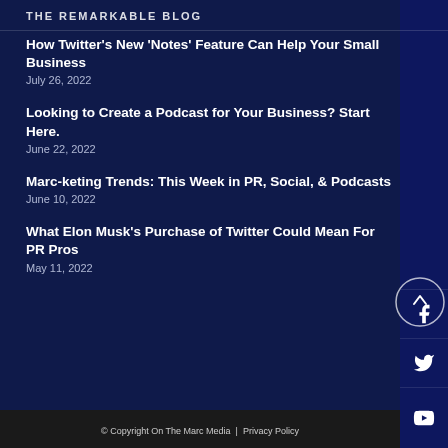THE REMARKABLE BLOG
How Twitter's New 'Notes' Feature Can Help Your Small Business
July 26, 2022
Looking to Create a Podcast for Your Business? Start Here.
June 22, 2022
Marc-keting Trends: This Week in PR, Social, & Podcasts
June 10, 2022
What Elon Musk's Purchase of Twitter Could Mean For PR Pros
May 11, 2022
© Copyright On The Marc Media | Privacy Policy